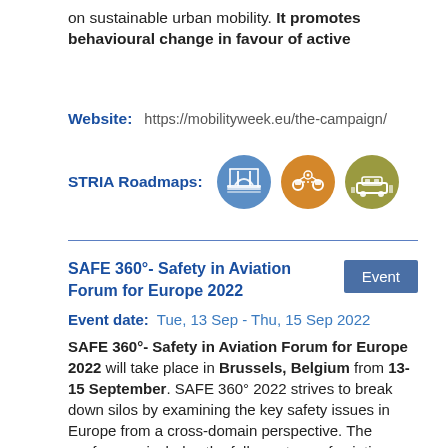on sustainable urban mobility. It promotes behavioural change in favour of active
Website:   https://mobilityweek.eu/the-campaign/
STRIA Roadmaps:
[Figure (illustration): Three circular icons representing STRIA Roadmaps: a blue icon with infrastructure/bridge design, an orange icon with connected vehicles, and a gold/olive icon with a vehicle and city scene.]
SAFE 360°- Safety in Aviation Forum for Europe 2022
Event date:   Tue, 13 Sep - Thu, 15 Sep 2022
SAFE 360°- Safety in Aviation Forum for Europe 2022 will take place in Brussels, Belgium from 13-15 September. SAFE 360° 2022 strives to break down silos by examining the key safety issues in Europe from a cross-domain perspective. The conference includes the full spectrum of aviation